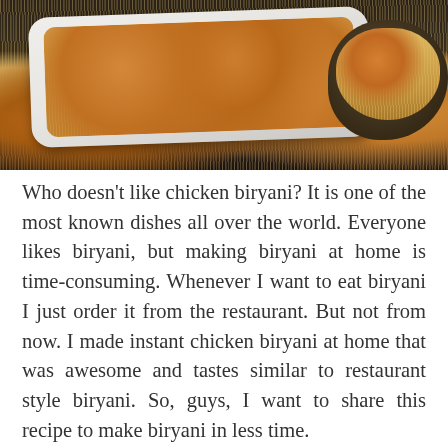[Figure (photo): Overhead photo of chicken biryani served on a white rectangular plate in the foreground and in a dark bowl to the right, against a dark background. The dish features saffron-colored rice with pieces of chicken.]
Who doesn't like chicken biryani? It is one of the most known dishes all over the world. Everyone likes biryani, but making biryani at home is time-consuming. Whenever I want to eat biryani I just order it from the restaurant. But not from now. I made instant chicken biryani at home that was awesome and tastes similar to restaurant style biryani. So, guys, I want to share this recipe to make biryani in less time.
There are many different ways to make chicken